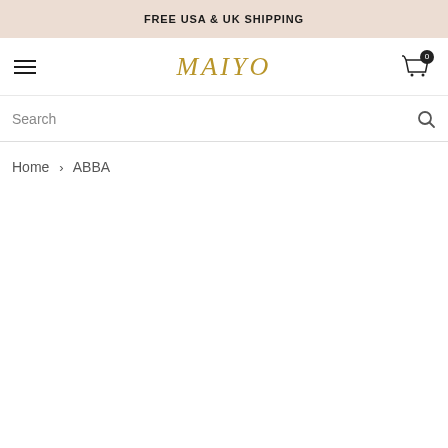FREE USA & UK SHIPPING
MAIYO
Search
Home > ABBA